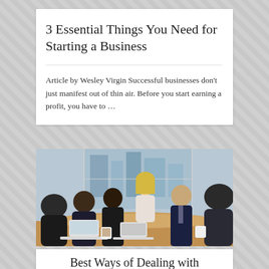3 Essential Things You Need for Starting a Business
Article by Wesley Virgin Successful businesses don't just manifest out of thin air. Before you start earning a profit, you have to …
[Figure (photo): Business meeting scene showing a group of professionals around a conference table with laptops. A blonde woman stands at the head of the table smiling, with large windows and city view in the background.]
Best Ways of Dealing with